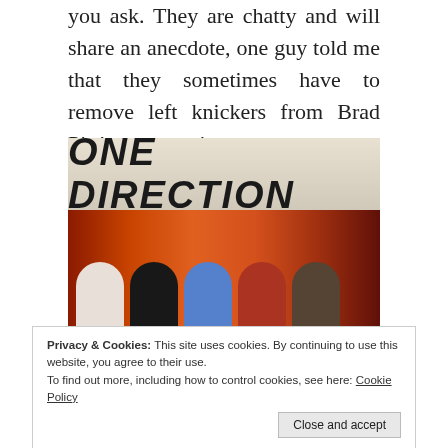you ask. They are chatty and will share an anecdote, one guy told me that they sometimes have to remove left knickers from Brad Pitt’s mannequin.
[Figure (photo): Photo of five young men sitting on a bench in front of a backdrop with a painted forest scene and a large banner reading ONE DIRECTION in bold black lettering.]
Privacy & Cookies: This site uses cookies. By continuing to use this website, you agree to their use.
To find out more, including how to control cookies, see here: Cookie Policy
possible to get deals, either with your train